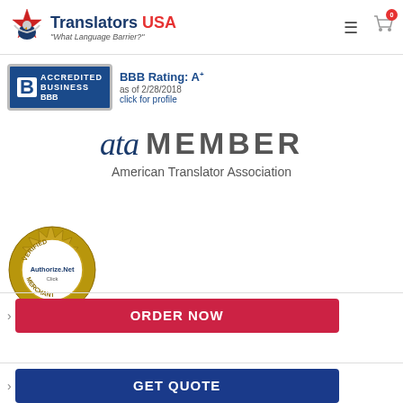[Figure (logo): Translators USA logo with eagle and text 'Translators USA' and tagline 'What Language Barrier?']
[Figure (logo): BBB Accredited Business badge with rating A+ as of 2/28/2018, click for profile]
[Figure (logo): ATA Member - American Translator Association logo]
[Figure (logo): Authorize.Net Verified Merchant badge]
ORDER NOW
GET QUOTE